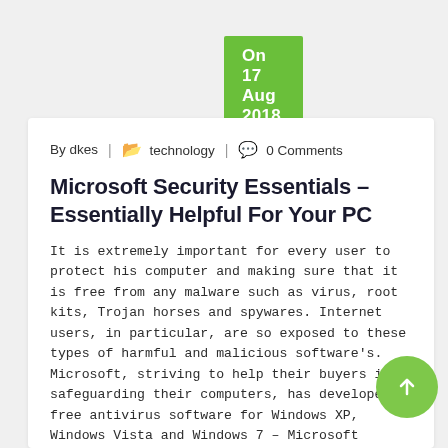On 17 Aug 2018
By dkes | technology | 0 Comments
Microsoft Security Essentials – Essentially Helpful For Your PC
It is extremely important for every user to protect his computer and making sure that it is free from any malware such as virus, root kits, Trojan horses and spywares. Internet users, in particular, are so exposed to these types of harmful and malicious software's. Microsoft, striving to help their buyers in safeguarding their computers, has developed free antivirus software for Windows XP, Windows Vista and Windows 7 – Microsoft Security Essentials (MSE).
During installation, Microsoft Security Essentials validates the license of the operating system of the user. If ever MSE finds out that the OS is actually not genuine, the user will be notified and the process will automatically be terminated.
MSE is packed with a lot of beneficial features. First of